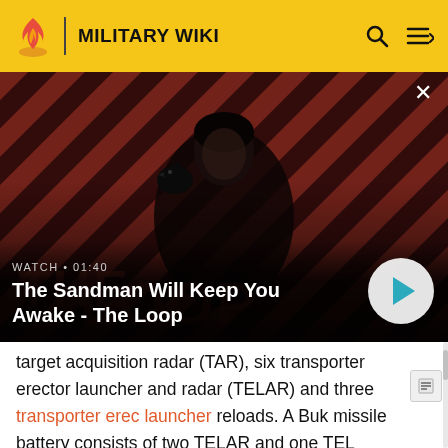MILITARY WIKI
[Figure (screenshot): Video thumbnail for 'The Sandman Will Keep You Awake - The Loop' showing a dark figure with a raven on a red-and-dark striped background. Watch time shown as 01:40.]
WATCH • 01:40 The Sandman Will Keep You Awake - The Loop
target acquisition radar (TAR), six transporter erector launcher and radar (TELAR) and three transporter erector launcher reloads. A Buk missile battery consists of two TELAR and one TEL vehicle. The battery requires no more than 5 minutes to set up before it is ready for